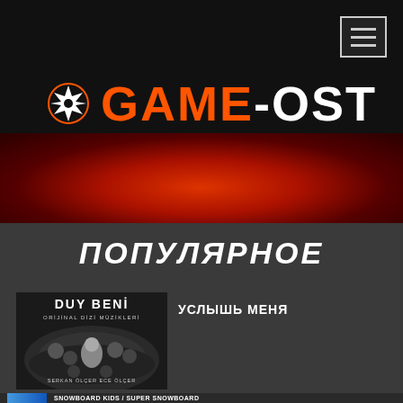[Figure (logo): GAME-OST website header with logo showing a cross/X icon and orange text GAME-OST on black background, with hamburger menu icon top right]
[Figure (photo): Red radial gradient banner below header]
ПОПУЛЯРНОЕ
[Figure (photo): Album cover for Duy Beni - Orijinal Dizi Müzikleri by Serkan Ölçer & Ece Ölçer, showing group of people]
УСЛЫШЬ МЕНЯ
SNOWBOARD KIDS / SUPER SNOWBOARD